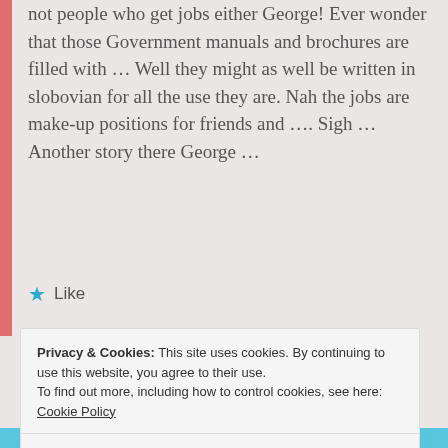not people who get jobs either George! Ever wonder that those Government manuals and brochures are filled with … Well they might as well be written in slobovian for all the use they are. Nah the jobs are make-up positions for friends and …. Sigh … Another story there George …
★ Like
↪ LOG IN TO REPLY
📅 AUGUST 13, 2013 AT 5:08 PM
Privacy & Cookies: This site uses cookies. By continuing to use this website, you agree to their use. To find out more, including how to control cookies, see here: Cookie Policy
Close and accept